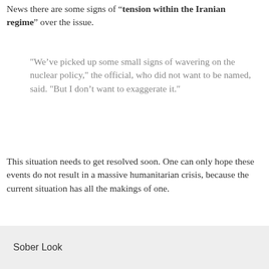News there are some signs of “tension within the Iranian regime” over the issue.
"We've picked up some small signs of wavering on the nuclear policy," the official, who did not want to be named, said. "But I don't want to exaggerate it."
This situation needs to get resolved soon. One can only hope these events do not result in a massive humanitarian crisis, because the current situation has all the makings of one.
SoberLook.com
Sober Look